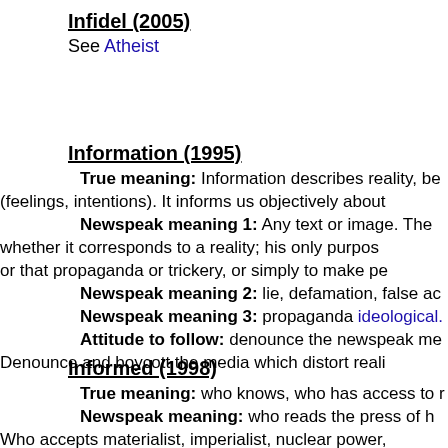Infidel (2005)
See Atheist
Information (1995)
True meaning: Information describes reality, be (feelings, intentions). It informs us objectively about
Newspeak meaning 1: Any text or image. The whether it corresponds to a reality; his only purpos or that propaganda or trickery, or simply to make pe
Newspeak meaning 2: lie, defamation, false ac
Newspeak meaning 3: propaganda ideological.
Attitude to follow: denounce the newspeak me
Denounce and boycott the media which distort reali
Informed (1998)
True meaning: who knows, who has access to r
Newspeak meaning: who reads the press of h
Who accepts materialist, imperialist, nuclear power,